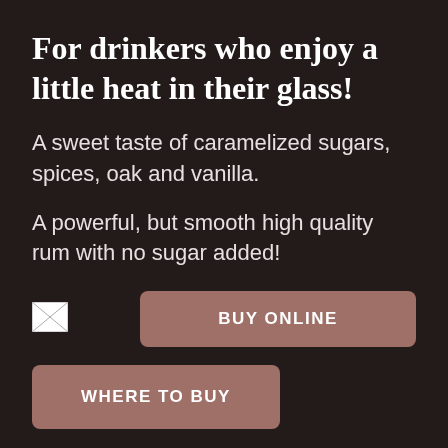For drinkers who enjoy a little heat in their glass!
A sweet taste of caramelized sugars, spices, oak and vanilla.
A powerful, but smooth high quality rum with no sugar added!
[Figure (other): Small broken/placeholder image icon in the lower left area]
BUY ONLINE
WHERE TO BUY
Imported from Jamaica for over 30 years